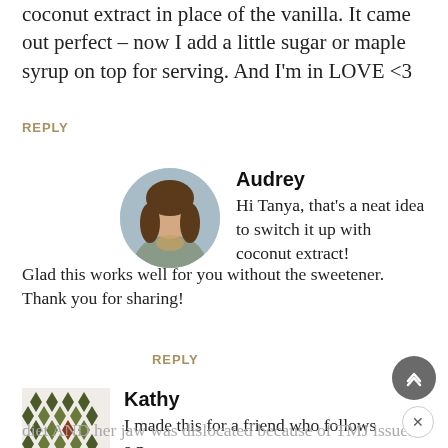coconut extract in place of the vanilla. It came out perfect – now I add a little sugar or maple syrup on top for serving. And I'm in LOVE <3
REPLY
Audrey
Hi Tanya, that's a neat idea to switch it up with coconut extract! Glad this works well for you without the sweetener. Thank you for sharing!
REPLY
Kathy
I made this for a friend who follows a p diet AND her jaw was dislocated because of TMJ issues, so she is only able to eat pureed foods right